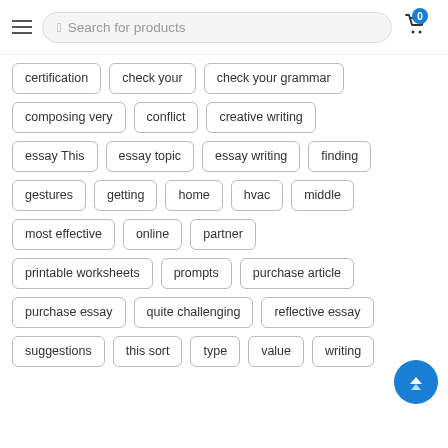Search for products
certification
check your
check your grammar
composing very
conflict
creative writing
essay This
essay topic
essay writing
finding
gestures
getting
home
hvac
middle
most effective
online
partner
printable worksheets
prompts
purchase article
purchase essay
quite challenging
reflective essay
suggestions
this sort
type
value
writing